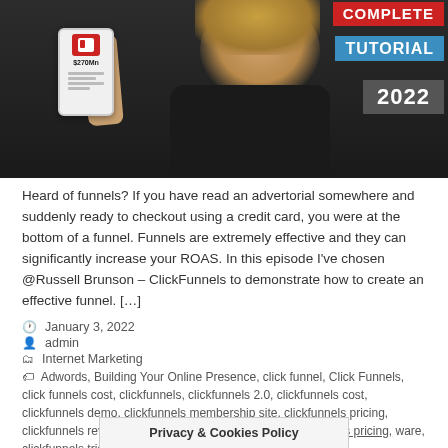[Figure (photo): Thumbnail image of a young man with long blonde hair and beard wearing a black t-shirt, holding up a phone showing $270Mn. Overlaid text badges read COMPLETE, TUTORIAL, 2022 in red, blue, and dark backgrounds respectively.]
Heard of funnels? If you have read an advertorial somewhere and suddenly ready to checkout using a credit card, you were at the bottom of a funnel. Funnels are extremely effective and they can significantly increase your ROAS. In this episode I've chosen @Russell Brunson – ClickFunnels to demonstrate how to create an effective funnel. […]
January 3, 2022
admin
Internet Marketing
Adwords, Building Your Online Presence, click funnel, Click Funnels, click funnels cost, clickfunnels, clickfunnels 2.0, clickfunnels cost, clickfunnels demo, clickfunnels membership site, clickfunnels pricing, clickfunnels review, clickfunnels software, clickfunnels trial, david fogart... Targeting
Privacy & Cookies Policy